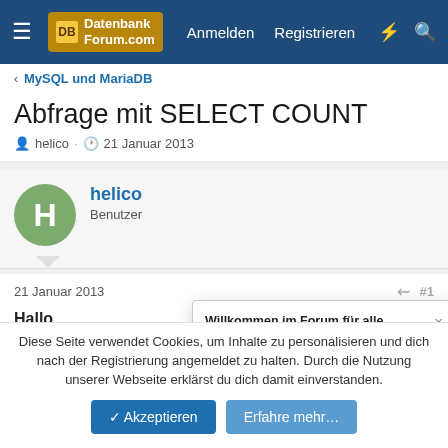DatenbankForum.com — Anmelden  Registrieren
< MySQL und MariaDB
Abfrage mit SELECT COUNT
helico · 21 Januar 2013
helico
Benutzer
21 Januar 2013  #1
Hallo
Habe so gut wie keine Ahnung von Datenbanken. Dafür ein altes, funktionierendes Reservierungssystem mit Mysql. Das möchte um eine kleinen Textteil erweitern.
[Figure (screenshot): Popup dialog: 'Willkommen im Forum für alle Datenbanken! Registriere Dich kostenlos und diskutiere über DBs wie Mysql, MariaDB, Oracle, Sql-Server, Postgres, Access uvm']
Diese Seite verwendet Cookies, um Inhalte zu personalisieren und dich nach der Registrierung angemeldet zu halten. Durch die Nutzung unserer Webseite erklärst du dich damit einverstanden.
✓ Akzeptieren   Erfahre mehr…